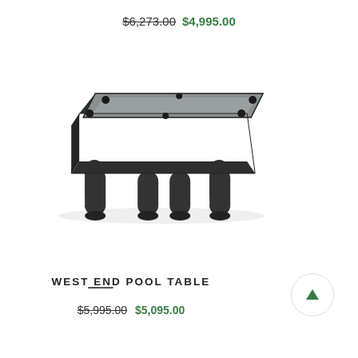$6,273.00  $4,995.00
[Figure (photo): Dark charcoal/black pool table with thick rounded legs and gray felt playing surface, viewed from a 3/4 angle on a white background]
WEST END POOL TABLE
$5,995.00  $5,095.00